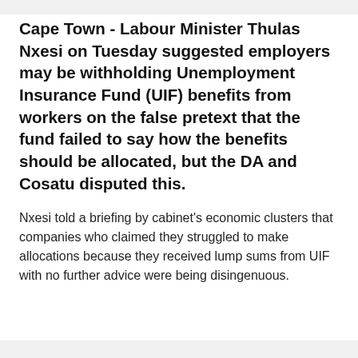Cape Town - Labour Minister Thulas Nxesi on Tuesday suggested employers may be withholding Unemployment Insurance Fund (UIF) benefits from workers on the false pretext that the fund failed to say how the benefits should be allocated, but the DA and Cosatu disputed this.
Nxesi told a briefing by cabinet's economic clusters that companies who claimed they struggled to make allocations because they received lump sums from UIF with no further advice were being disingenuous.